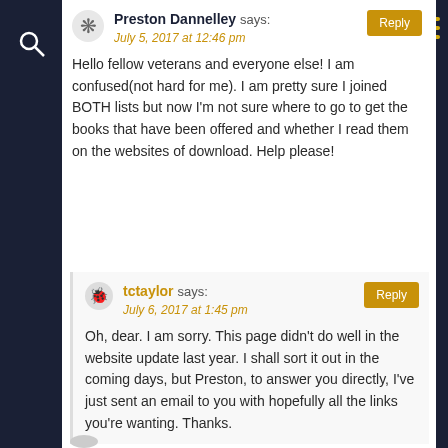Preston Dannelley says: July 5, 2017 at 12:46 pm
Hello fellow veterans and everyone else! I am confused(not hard for me). I am pretty sure I joined BOTH lists but now I'm not sure where to go to get the books that have been offered and whether I read them on the websites of download. Help please!
tctaylor says: July 6, 2017 at 1:45 pm
Oh, dear. I am sorry. This page didn't do well in the website update last year. I shall sort it out in the coming days, but Preston, to answer you directly, I've just sent an email to you with hopefully all the links you're wanting. Thanks.